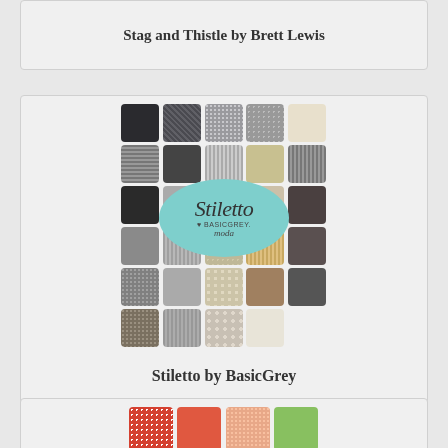Stag and Thistle by Brett Lewis
[Figure (photo): Fabric charm pack swatch card for Stiletto by BasicGrey showing a grid of 25 fabric swatches in charcoal, grey, taupe, and cream tones with a teal oval label overlay showing the Stiletto brand name, BasicGrey logo, and Moda text]
Stiletto by BasicGrey
[Figure (photo): Partial view of another fabric charm pack showing 4 swatches in coral red with white floral print, solid coral/orange, peach floral print, and lime green]